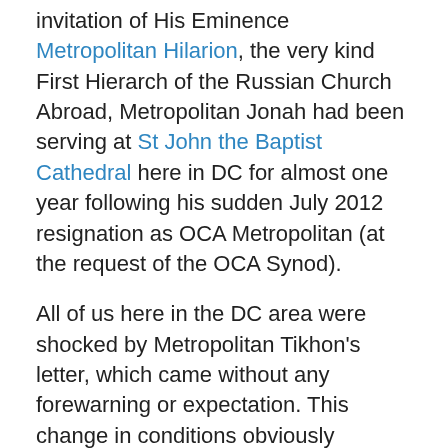invitation of His Eminence Metropolitan Hilarion, the very kind First Hierarch of the Russian Church Abroad, Metropolitan Jonah had been serving at St John the Baptist Cathedral here in DC for almost one year following his sudden July 2012 resignation as OCA Metropolitan (at the request of the OCA Synod).
All of us here in the DC area were shocked by Metropolitan Tikhon's letter, which came without any forewarning or expectation. This change in conditions obviously contradicts the assurances Metropolitan Jonah received in May of 2013 when he met and con-celebrated the Divine Liturgy with Metropolitans Hilarion and Tikhon at St Tikhon's Monastery in Pennsylvania. At this Monday, May 27 meeting in the presence of Metropolitan Hilarion, Metropolitan Tikhon and members of the OCA Synod of